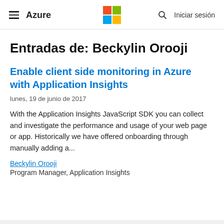Azure — Iniciar sesión
Entradas de: Beckylin Orooji
Enable client side monitoring in Azure with Application Insights
lunes, 19 de junio de 2017
With the Application Insights JavaScript SDK you can collect and investigate the performance and usage of your web page or app. Historically we have offered onboarding through manually adding a...
Beckylin Orooji
Program Manager, Application Insights